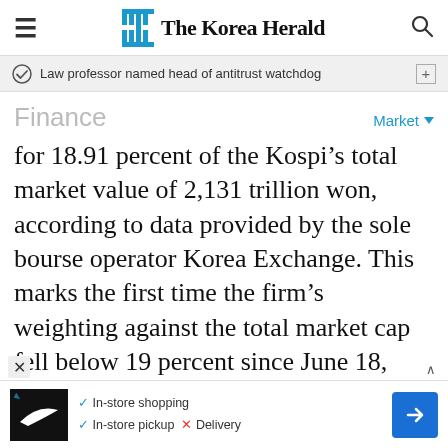The Korea Herald
Law professor named head of antitrust watchdog
Finance
Market
for 18.91 percent of the Kospi’s total market value of 2,131 trillion won, according to data provided by the sole bourse operator Korea Exchange. This marks the first time the firm’s weighting against the total market cap fell below 19 percent since June 18, 2019, when the figure came to 18.95. At the time, the market bellwether’s value stood at 264.8 trillion won and the Kospi’s total market value